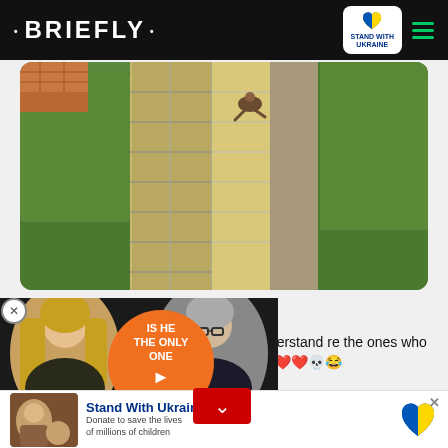• BRIEFLY •
[Figure (photo): A person crouching on a patterned stone/paver walkway with decorative hedges on either side, photographed from above]
Follow
an listen and understand re the ones who said e this video ❤️❤️💀😂
[Figure (infographic): Video advertisement overlay showing two people (woman with blonde hair, man with glasses) and an orange circle with text: IS HE THE ONLY ONE TO BLAME? with a play button]
[Figure (infographic): Stand With Ukraine banner at bottom: Bold blue text 'Stand With Ukraine', subtitle 'Donate to save the lives of millions of children', with Ukraine flag heart logo and X close button]